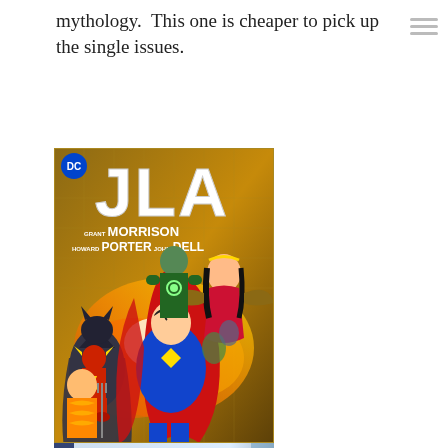mythology.  This one is cheaper to pick up the single issues.
[Figure (illustration): JLA comic book cover featuring Superman, Batman, Wonder Woman, Green Lantern, The Flash and other superheroes. Authors: Grant Morrison, Howard Porter, John Dell. DC Comics logo in top left corner.]
[Figure (illustration): Partial view of another comic book cover showing Green Lantern and other DC superhero characters in black and white with blue tones.]